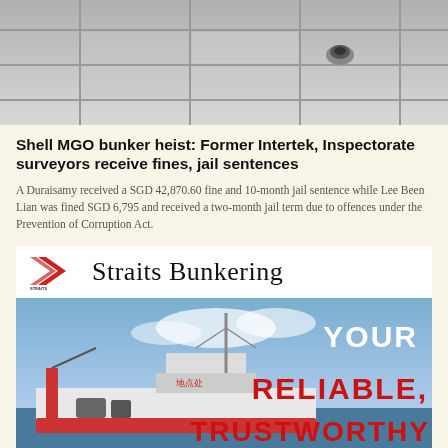[Figure (photo): Interior ceiling photo showing grid ceiling panels and a security camera dome]
Shell MGO bunker heist: Former Intertek, Inspectorate surveyors receive fines, jail sentences
A Duraisamy received a SGD 42,870.60 fine and 10-month jail sentence while Lee Been Lian was fined SGD 6,795 and received a two-month jail term due to offences under the Prevention of Corruption Act.
[Figure (logo): Straits Bunkering advertisement with logo and ship photo. Text: YOUR RELIABLE, TRUSTWORTHY]